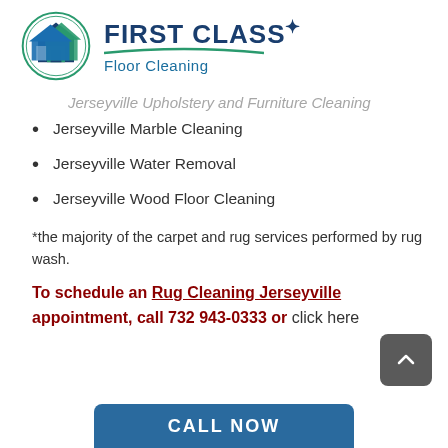[Figure (logo): First Class Floor Cleaning logo with circular icon showing house/cleaning imagery and company name text]
Jerseyville Upholstery and Furniture Cleaning (partial, cut off)
Jerseyville Marble Cleaning
Jerseyville Water Removal
Jerseyville Wood Floor Cleaning
*the majority of the carpet and rug services performed by rug wash.
To schedule an Rug Cleaning Jerseyville appointment, call 732 943-0333 or click here